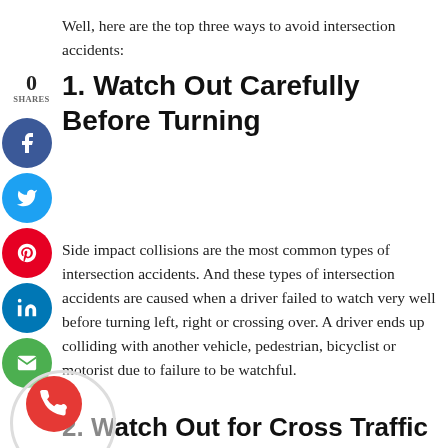Well, here are the top three ways to avoid intersection accidents:
1. Watch Out Carefully Before Turning
Side impact collisions are the most common types of intersection accidents. And these types of intersection accidents are caused when a driver failed to watch very well before turning left, right or crossing over. A driver ends up colliding with another vehicle, pedestrian, bicyclist or motorist due to failure to be watchful.
2. Watch Out for Cross Traffic